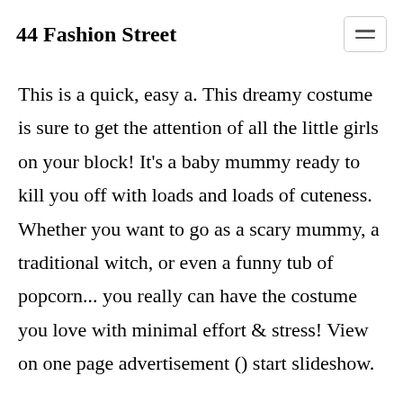44 Fashion Street
This is a quick, easy a. This dreamy costume is sure to get the attention of all the little girls on your block! It's a baby mummy ready to kill you off with loads and loads of cuteness. Whether you want to go as a scary mummy, a traditional witch, or even a funny tub of popcorn... you really can have the costume you love with minimal effort & stress! View on one page advertisement () start slideshow.